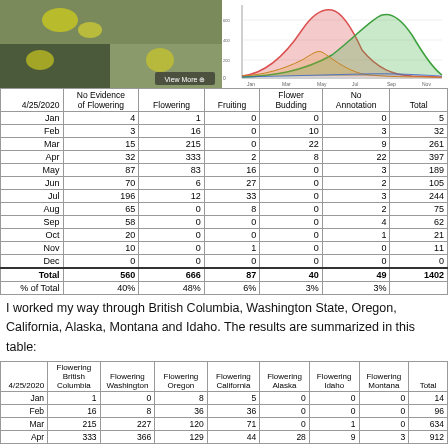[Figure (photo): Collage of plant photos showing yellow flowers and green foliage with 'View More' button]
[Figure (continuous-plot): Overlapping colored distribution curves (red, green, orange, blue) showing phenology data across months]
| 4/25/2020 | No Evidence of Flowering | Flowering | Fruiting | Flower Budding | No Annotation | Total |
| --- | --- | --- | --- | --- | --- | --- |
| Jan | 4 | 1 | 0 | 0 | 0 | 5 |
| Feb | 3 | 16 | 0 | 10 | 3 | 32 |
| Mar | 15 | 215 | 0 | 22 | 9 | 261 |
| Apr | 32 | 333 | 2 | 8 | 22 | 397 |
| May | 87 | 83 | 16 | 0 | 3 | 189 |
| Jun | 70 | 6 | 27 | 0 | 2 | 105 |
| Jul | 196 | 12 | 33 | 0 | 3 | 244 |
| Aug | 65 | 0 | 8 | 0 | 2 | 75 |
| Sep | 58 | 0 | 0 | 0 | 4 | 62 |
| Oct | 20 | 0 | 0 | 0 | 1 | 21 |
| Nov | 10 | 0 | 1 | 0 | 0 | 11 |
| Dec | 0 | 0 | 0 | 0 | 0 | 0 |
| Total | 560 | 666 | 87 | 40 | 49 | 1402 |
| % of Total | 40% | 48% | 6% | 3% | 3% |  |
I worked my way through British Columbia, Washington State, Oregon, California, Alaska, Montana and Idaho. The results are summarized in this table:
| 4/25/2020 | Flowering British Columbia | Flowering Washington | Flowering Oregon | Flowering California | Flowering Alaska | Flowering Idaho | Flowering Montana | Total |
| --- | --- | --- | --- | --- | --- | --- | --- | --- |
| Jan | 1 | 0 | 8 | 5 | 0 | 0 | 0 | 14 |
| Feb | 16 | 8 | 36 | 36 | 0 | 0 | 0 | 96 |
| Mar | 215 | 227 | 120 | 71 | 0 | 1 | 0 | 634 |
| Apr | 333 | 366 | 129 | 44 | 28 | 9 | 3 | 912 |